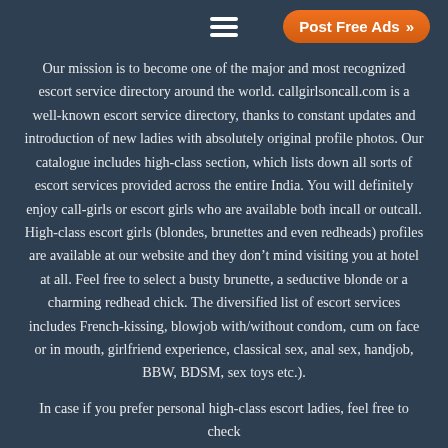Post Free Ads >>
Our mission is to become one of the major and most recognized escort service directory around the world. callgirlsoncall.com is a well-known escort service directory, thanks to constant updates and introduction of new ladies with absolutely original profile photos. Our catalogue includes high-class section, which lists down all sorts of escort services provided across the entire India. You will definitely enjoy call-girls or escort girls who are available both incall or outcall. High-class escort girls (blondes, brunettes and even redheads) profiles are available at our website and they don't mind visiting you at hotel at all. Feel free to select a busty brunette, a seductive blonde or a charming redhead chick. The diversified list of escort services includes French-kissing, blowjob with/without condom, cum on face or in mouth, girlfriend experience, classical sex, anal sex, handjob, BBW, BDSM, sex toys etc.).
In case if you prefer personal high-class escort ladies, feel free to check our our independent girls in the same category in India. Browse the